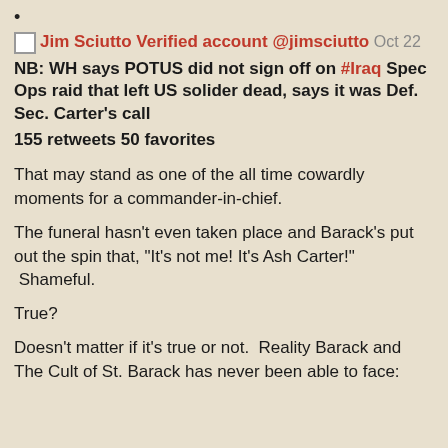•
Jim Sciutto Verified account @jimsciutto Oct 22
NB: WH says POTUS did not sign off on #Iraq Spec Ops raid that left US solider dead, says it was Def. Sec. Carter's call
155 retweets 50 favorites
That may stand as one of the all time cowardly moments for a commander-in-chief.
The funeral hasn't even taken place and Barack's put out the spin that, "It's not me! It's Ash Carter!"  Shameful.
True?
Doesn't matter if it's true or not.  Reality Barack and The Cult of St. Barack has never been able to face: